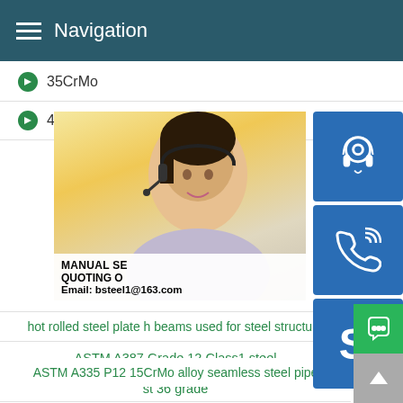Navigation
35CrMo
42CrMo
[Figure (photo): Customer service representative woman with headset, with contact icons (headset, phone, Skype) overlaid on the right side, and overlay text showing MANUAL SE[RVICE], QUOTING O[NLINE], Email: bsteel1@163.com]
RECENT NEWS
ASTM A387 Grade 12 Class1 steel
st 36 grade
hot rolled steel plate h beams used for steel structure
ASTM A335 P12 15CrMo alloy seamless steel pipe